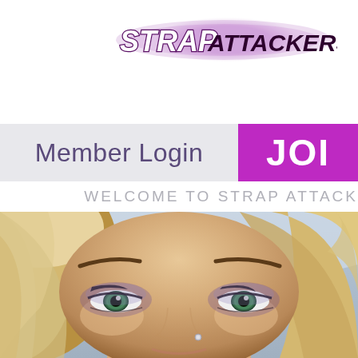[Figure (logo): StrapAttackers website logo with graffiti/spray-paint style text on white background]
Member Login
JOI
WELCOME TO STRAP ATTACK
[Figure (photo): Close-up photo of a blonde woman with green eyes and heavy eye makeup, nose piercing visible]